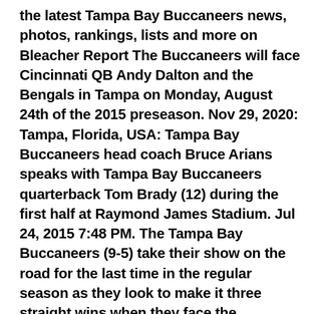the latest Tampa Bay Buccaneers news, photos, rankings, lists and more on Bleacher Report The Buccaneers will face Cincinnati QB Andy Dalton and the Bengals in Tampa on Monday, August 24th of the 2015 preseason. Nov 29, 2020: Tampa, Florida, USA: Tampa Bay Buccaneers head coach Bruce Arians speaks with Tampa Bay Buccaneers quarterback Tom Brady (12) during the first half at Raymond James Stadium. Jul 24, 2015 7:48 PM. The Tampa Bay Buccaneers (9-5) take their show on the road for the last time in the regular season as they look to make it three straight wins when they face the slumping Detroit Lions (5-9) Saturday afternoon at Ford Field. Bucs 2015 schedule. How to Use Tampa Bay Buccaneers Coupons Be sure to shop the Sale section at the Tampa Bay Buccaneers official store to find discounted pricing on select items. Overall: The first year of the Jason Licht/Lovie Smith era in Tampa Bay ... video Pioli's keys for a ... Find out the latest on your favorite NFL teams on